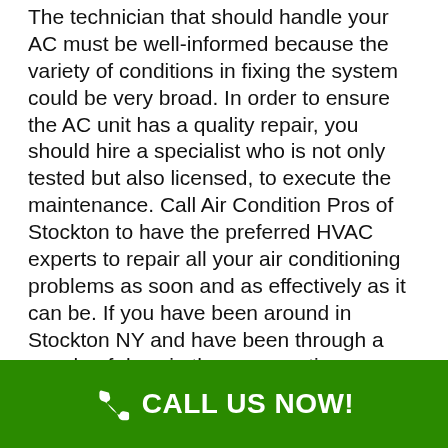The technician that should handle your AC must be well-informed because the variety of conditions in fixing the system could be very broad. In order to ensure the AC unit has a quality repair, you should hire a specialist who is not only tested but also licensed, to execute the maintenance. Call Air Condition Pros of Stockton to have the preferred HVAC experts to repair all your air conditioning problems as soon and as effectively as it can be. If you have been around in Stockton NY and have been through a couple of days in the summer time without air conditioning in your home or business you know it's not a pleasing experience when it is hot, stuffy and humid. If you need an instant response to a faulty or destroyed unit, our superior 24-hour Emergency Air Conditioning Repair is available from a highly skilled AC Repair technician with all the correct tools to restore your system. Even if you are contacting after office hours, we have our phone system set up to alert our 24-hour on-call Air conditioning repair technicians as soon
CALL US NOW!